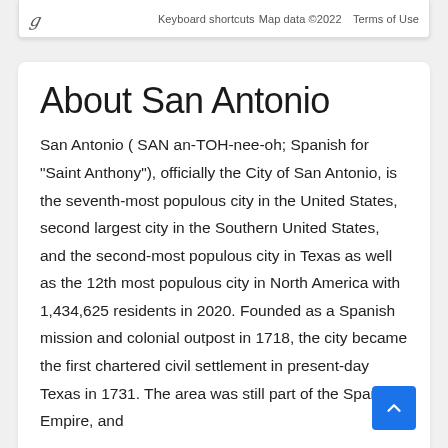[Figure (screenshot): Google Maps bottom bar showing keyboard shortcuts, map data copyright 2022, and Terms of Use, with a small Google logo icon on the left]
About San Antonio
San Antonio ( SAN an-TOH-nee-oh; Spanish for "Saint Anthony"), officially the City of San Antonio, is the seventh-most populous city in the United States, second largest city in the Southern United States, and the second-most populous city in Texas as well as the 12th most populous city in North America with 1,434,625 residents in 2020. Founded as a Spanish mission and colonial outpost in 1718, the city became the first chartered civil settlement in present-day Texas in 1731. The area was still part of the Spanish Empire, and